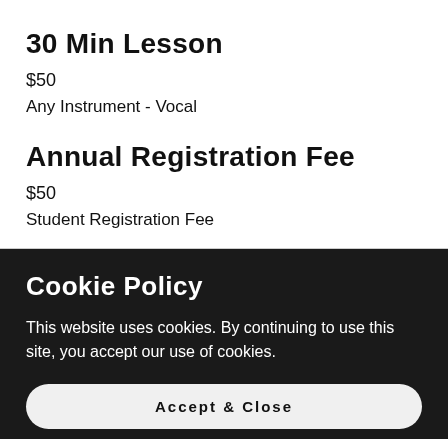30 Min Lesson
$50
Any Instrument - Vocal
Annual Registration Fee
$50
Student Registration Fee
Cookie Policy
This website uses cookies. By continuing to use this site, you accept our use of cookies.
Accept & Close